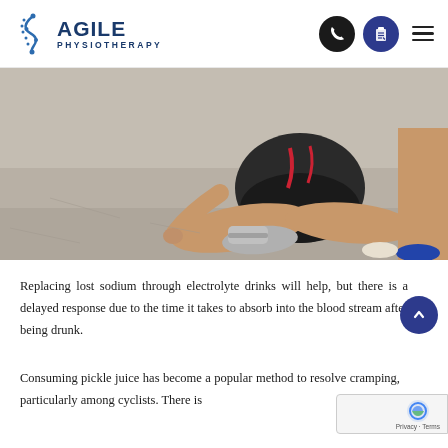Agile Physiotherapy — navigation header
[Figure (photo): An athlete sitting on the ground on pavement with legs crossed, wearing black athletic shorts and black long-sleeve top, with a person standing nearby — depicting a sports injury or cramping scenario.]
Replacing lost sodium through electrolyte drinks will help, but there is a delayed response due to the time it takes to absorb into the blood stream after being drunk.
Consuming pickle juice has become a popular method to resolve cramping, particularly among cyclists. There is